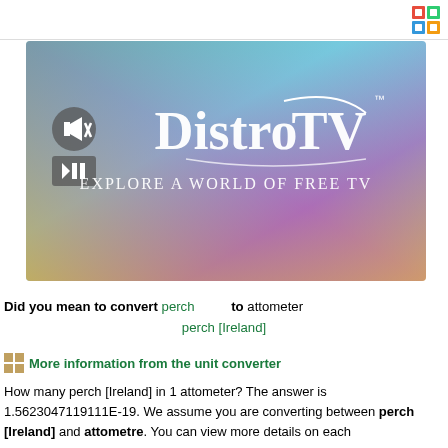[Figure (screenshot): DistroTV advertisement banner with colorful gradient background (teal, purple, yellow) showing the DistroTV logo and tagline 'Explore a World of Free TV'. Includes mute and play/pause media control icons on the left side.]
Did you mean to convert perch to attometer perch [Ireland]
More information from the unit converter
How many perch [Ireland] in 1 attometer? The answer is 1.5623047119111E-19. We assume you are converting between perch [Ireland] and attometre. You can view more details on each